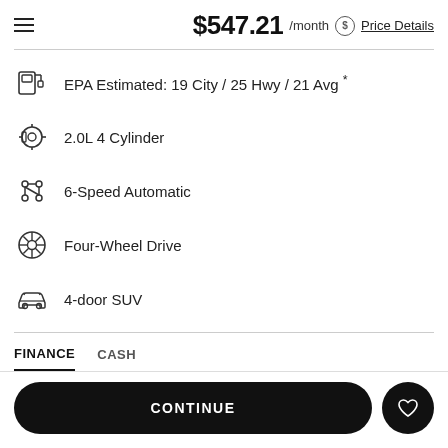$547.21 /month Price Details
EPA Estimated: 19 City / 25 Hwy / 21 Avg *
2.0L 4 Cylinder
6-Speed Automatic
Four-Wheel Drive
4-door SUV
FINANCE   CASH
CONTINUE